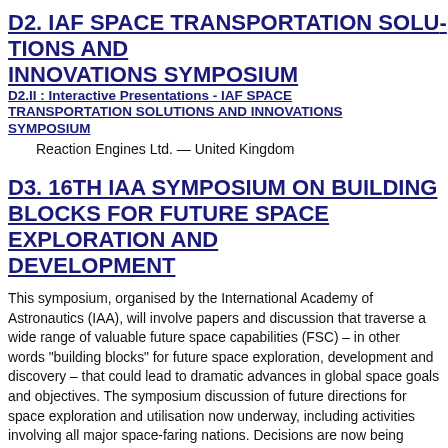D2. IAF SPACE TRANSPORTATION SOLUTIONS AND INNOVATIONS SYMPOSIUM
D2.II : Interactive Presentations - IAF SPACE TRANSPORTATION SOLUTIONS AND INNOVATIONS SYMPOSIUM
Reaction Engines Ltd. — United Kingdom
D3. 16TH IAA SYMPOSIUM ON BUILDING BLOCKS FOR FUTURE SPACE EXPLORATION AND DEVELOPMENT
This symposium, organised by the International Academy of Astronautics (IAA), will involve papers and discussion that traverse a wide range of valuable future space capabilities (FSC) – in other words "building blocks" for future space exploration, development and discovery – that could lead to dramatic advances in global space goals and objectives. The symposium discussion of future directions for space exploration and utilisation now underway, including activities involving all major space-faring nations. Decisions are now being made that will set the course for space activities for many years to come. New approaches are needed that establish revolutionary architectures, concepts and technologies that will lead to significant human and robotic space exploration and utilisation during the coming decades.